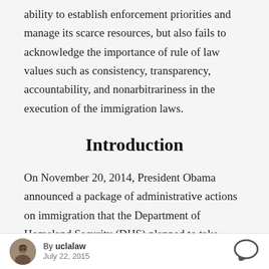ability to establish enforcement priorities and manage its scarce resources, but also fails to acknowledge the importance of rule of law values such as consistency, transparency, accountability, and nonarbitrariness in the execution of the immigration laws.
Introduction
On November 20, 2014, President Obama announced a package of administrative actions on immigration that the Department of Homeland Security (DHS) planned to take using its existing legal authority.[1] The most
By uclalaw  July 22, 2015